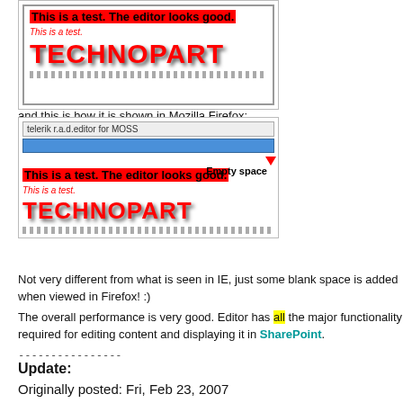[Figure (screenshot): Screenshot of editor in IE showing bold red highlighted text 'This is a test. The editor looks good.' with small red italic 'This is a test.' and large red TECHNOPART logo text, with torn paper bottom border]
and this is how it is shown in Mozilla Firefox:
[Figure (screenshot): Screenshot of editor in Firefox showing telerik r.a.d.editor for MOSS toolbar, blue selection bar with red arrow pointing down labeled 'Empty space', bold red highlighted text 'This is a test. The editor looks good.', small red 'This is a test.', and large red TECHNOPART logo text with torn paper border]
Not very different from what is seen in IE, just some blank space is added when viewed in Firefox! :)
The overall performance is very good. Editor has all the major functionality required for editing content and displaying it in SharePoint.
----------------
Update:
Originally posted: Fri, Feb 23, 2007